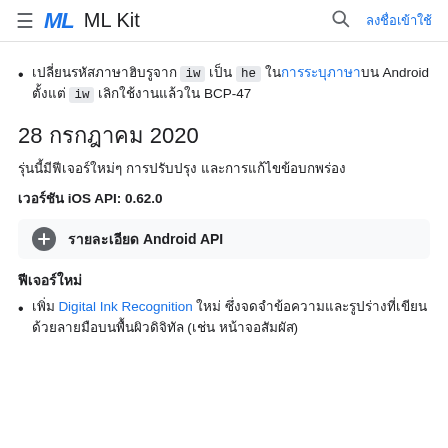≡ ML ML Kit 🔍 ลงชื่อเข้าใช้
เปลี่ยนรหัสภาษาฮิบรูจาก iw เป็น he ในการระบุภาษาบน Android ตั้งแต่ iw เลิกใช้งานแล้วใน BCP-47
28 กรกฎาคม 2020
รุ่นนี้มีฟีเจอร์ใหม่ๆ การปรับปรุง และการแก้ไขข้อบกพร่อง
เวอร์ชัน iOS API: 0.62.0
รายละเอียด Android API
ฟีเจอร์ใหม่
เพิ่ม Digital Ink Recognition ใหม่ ซึ่งจดจำข้อความและรูปร่างที่เขียนด้วยลายมือบนพื้นผิวดิจิทัล (เช่น หน้าจอสัมผัส)